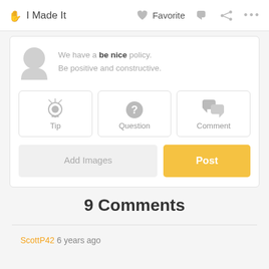I Made It   Favorite   ... (nav icons)
We have a be nice policy. Be positive and constructive.
[Figure (screenshot): UI panel with Tip, Question, Comment selection buttons, Add Images button, and Post button]
9 Comments
ScottP42 6 years ago